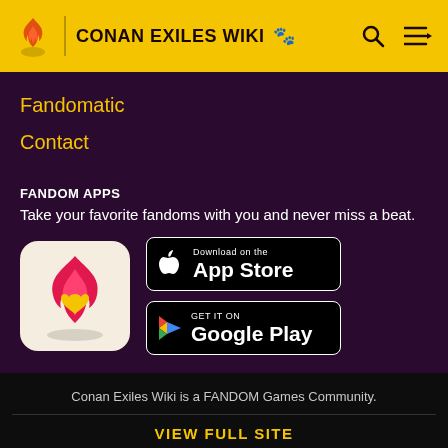CONAN EXILES WIKI
Fandomatic
Contact
FANDOM APPS
Take your favorite fandoms with you and never miss a beat.
[Figure (logo): Fandom app icon: pink/red flame with yellow heart on beige background]
[Figure (screenshot): Download on the App Store button (black, white border)]
[Figure (screenshot): GET IT ON Google Play button (black, white border)]
Conan Exiles Wiki is a FANDOM Games Community.
VIEW FULL SITE